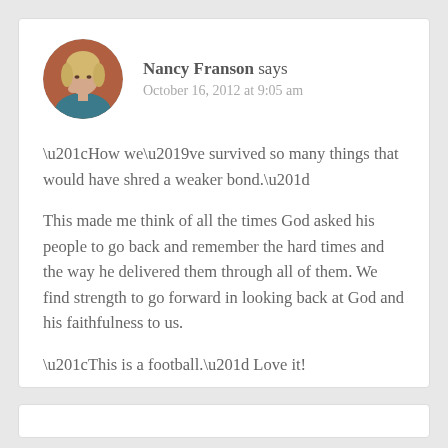[Figure (photo): Circular avatar photo of Nancy Franson, a woman with blonde hair sitting at a table with a coffee cup, in front of a brick wall background, wearing a teal top.]
Nancy Franson says
October 16, 2012 at 9:05 am
“How we’ve survived so many things that would have shred a weaker bond.”

This made me think of all the times God asked his people to go back and remember the hard times and the way he delivered them through all of them. We find strength to go forward in looking back at God and his faithfulness to us.

“This is a football.” Love it!